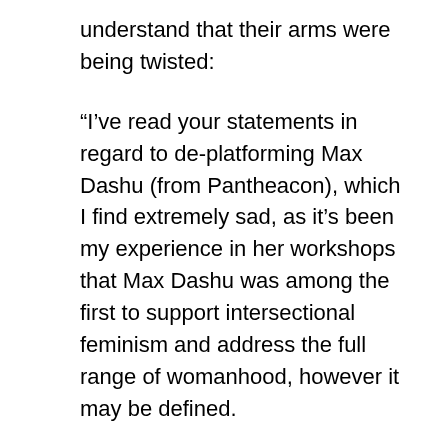understand that their arms were being twisted:
“I’ve read your statements in regard to de-platforming Max Dashu (from Pantheacon), which I find extremely sad, as it’s been my experience in her workshops that Max Dashu was among the first to support intersectional feminism and address the full range of womanhood, however it may be defined.
Personally, I found the so-called “anti-Terfers” who attacked the small group of feminist lesbian elders @ S.F.’s “Pride” March to exhibit really disgusting, thuggish behavior. I’m sorry you & Starhawk felt forced to buckle under such hateful pressure. Whoever they are, they certainly have succeeded in pre-poisoning the atmosphere of Pantheacon that